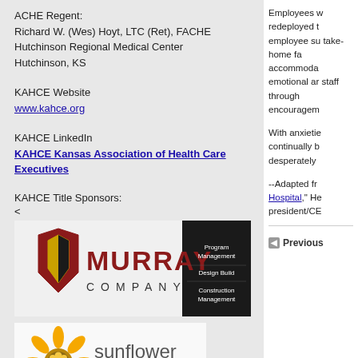ACHE Regent:
Richard W. (Wes) Hoyt, LTC (Ret), FACHE
Hutchinson Regional Medical Center
Hutchinson, KS
KAHCE Website
www.kahce.org
KAHCE LinkedIn
KAHCE Kansas Association of Health Care Executives
KAHCE Title Sponsors:
<
[Figure (logo): Murray Company logo with Program Management, Design Build, Construction Management text]
[Figure (logo): Sunflower health plan logo with sunflower graphic]
Employees w redeployed t employee su take-home fa accommoda emotional ar staff through encouragem
With anxietie continually b desperately
--Adapted fr Hospital," He president/CE
Previous